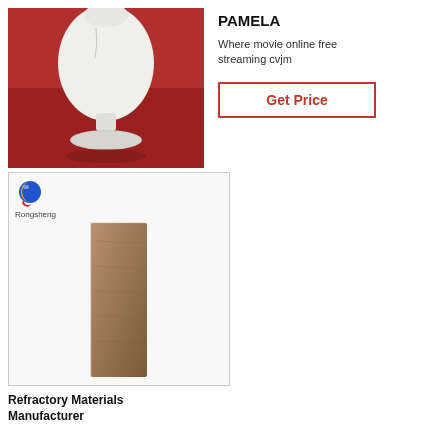[Figure (photo): White ceramic/glass vessel on red background]
PAMELA
Where movie online free streaming cvjm
Get Price
[Figure (photo): Refractory material brick sample on white background with Rongsheng logo]
Refractory Materials Manufacturer